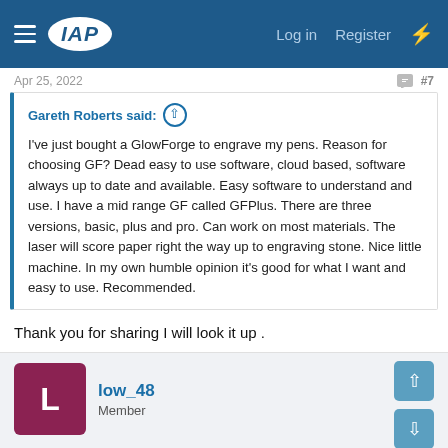IAP forum navigation bar with Log in, Register links
Apr 25, 2022  #7
Gareth Roberts said: ↑
I've just bought a GlowForge to engrave my pens. Reason for choosing GF? Dead easy to use software, cloud based, software always up to date and available. Easy software to understand and use. I have a mid range GF called GFPlus. There are three versions, basic, plus and pro. Can work on most materials. The laser will score paper right the way up to engraving stone. Nice little machine. In my own humble opinion it's good for what I want and easy to use. Recommended.
Thank you for sharing I will look it up .
low_48
Member
Apr 27, 2022  #8